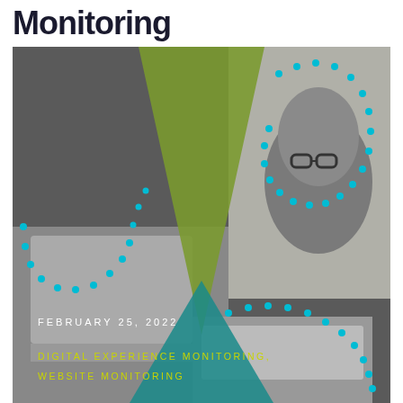Monitoring
[Figure (photo): Cover image showing a person with glasses working on a laptop in grayscale, overlaid with green and teal geometric triangle shapes and teal dotted arc patterns. Image contains text: FEBRUARY 25, 2022 and DIGITAL EXPERIENCE MONITORING, WEBSITE MONITORING in yellow-green lettering.]
FEBRUARY 25, 2022
DIGITAL EXPERIENCE MONITORING, WEBSITE MONITORING